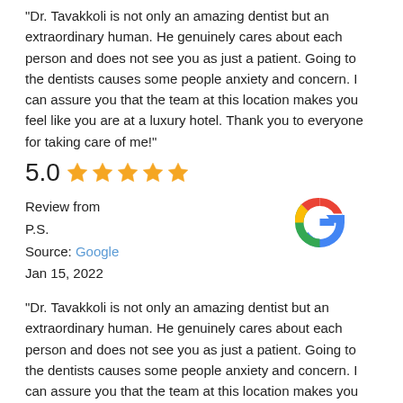“Dr. Tavakkoli is not only an amazing dentist but an extraordinary human. He genuinely cares about each person and does not see you as just a patient. Going to the dentists causes some people anxiety and concern. I can assure you that the team at this location makes you feel like you are at a luxury hotel. Thank you to everyone for taking care of me!”
5.0 ★★★★★
Review from
P.S.
Source: Google
Jan 15, 2022
[Figure (logo): Google G logo in red, yellow, green, blue colors]
“Dr. Tavakkoli is not only an amazing dentist but an extraordinary human. He genuinely cares about each person and does not see you as just a patient. Going to the dentists causes some people anxiety and concern. I can assure you that the team at this location makes you feel like you are at a luxury hotel. Thank you to everyone for taking care of me!”